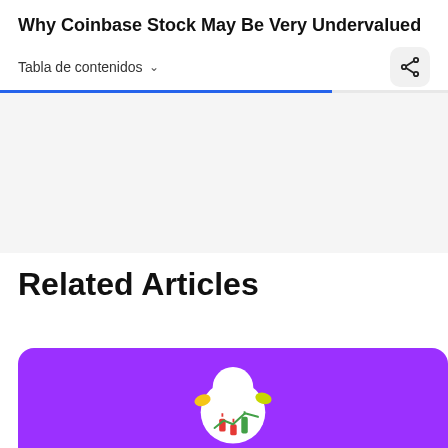Why Coinbase Stock May Be Very Undervalued
Tabla de contenidos ▾
Related Articles
[Figure (illustration): Purple card background with a robot/trading illustration partially visible at the bottom of the page]